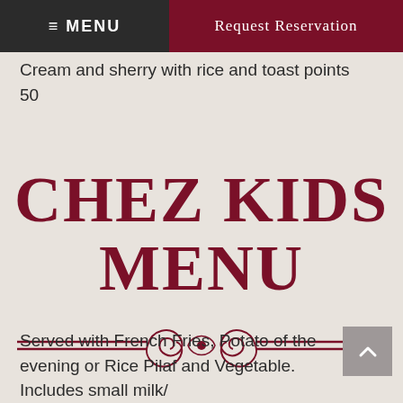≡ MENU   Request Reservation
Cream and sherry with rice and toast points
50
CHEZ KIDS MENU
[Figure (illustration): Decorative ornamental divider with scrollwork flourish between two double horizontal lines in dark red]
Served with French Fries, Potato of the evening or Rice Pilaf and Vegetable. Includes small milk/